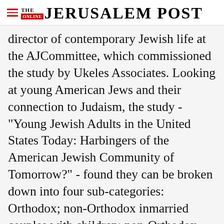THE JERUSALEM POST
director of contemporary Jewish life at the AJCommittee, which commissioned the study by Ukeles Associates. Looking at young American Jews and their connection to Judaism, the study - "Young Jewish Adults in the United States Today: Harbingers of the American Jewish Community of Tomorrow?" - found they can be broken down into four sub-categories: Orthodox; non-Orthodox inmarried couples with children; non-Orthodox Jewish singles and married couples
Advertisement